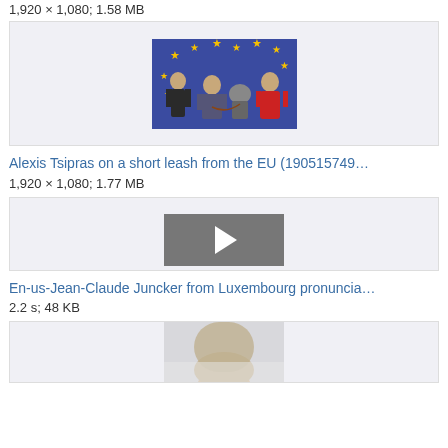1,920 × 1,080; 1.58 MB
[Figure (photo): Cartoon caricature of EU political figures including Juncker, Tsipras, and Merkel against EU flag background]
Alexis Tsipras on a short leash from the EU (190515749…
1,920 × 1,080; 1.77 MB
[Figure (other): Video player thumbnail with play button]
En-us-Jean-Claude Juncker from Luxembourg pronuncia…
2.2 s; 48 KB
[Figure (photo): Portrait photo of a person with grey/blonde hair, partially visible]